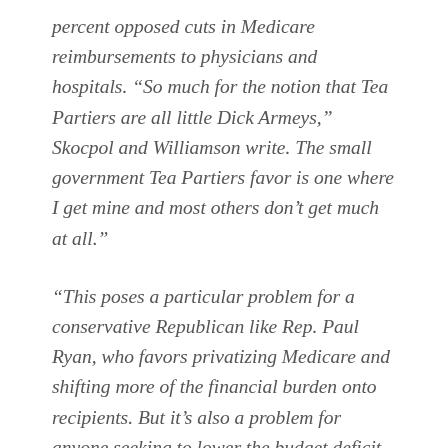percent opposed cuts in Medicare reimbursements to physicians and hospitals. “So much for the notion that Tea Partiers are all little Dick Armeys,” Skocpol and Williamson write. The small government Tea Partiers favor is one where I get mine and most others don’t get much at all.”
“This poses a particular problem for a conservative Republican like Rep. Paul Ryan, who favors privatizing Medicare and shifting more of the financial burden onto recipients. But it’s also a problem for anyone seeking to lower the budget deficit,